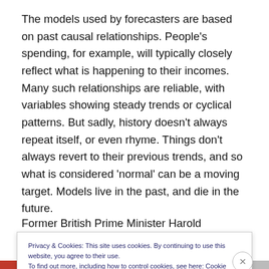The models used by forecasters are based on past causal relationships. People's spending, for example, will typically closely reflect what is happening to their incomes. Many such relationships are reliable, with variables showing steady trends or cyclical patterns. But sadly, history doesn't always repeat itself, or even rhyme. Things don't always revert to their previous trends, and so what is considered 'normal' can be a moving target. Models live in the past, and die in the future.
Former British Prime Minister Harold MacMillan once said
Privacy & Cookies: This site uses cookies. By continuing to use this website, you agree to their use.
To find out more, including how to control cookies, see here: Cookie Policy